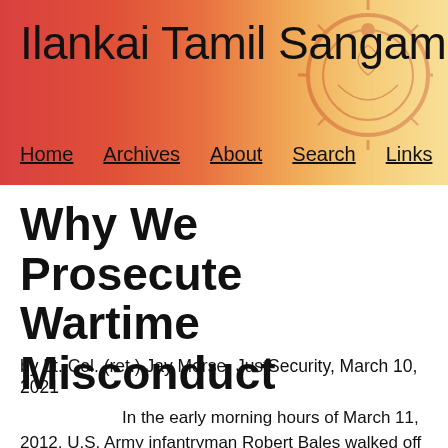Ilankai Tamil Sangam
Home   Archives   About   Search   Links
Why We Prosecute Wartime Misconduct
by Lt. Col. (ret.) Jay Morse, JustSecurity, March 10, 2021
In the early morning hours of March 11, 2012, U.S. Army infantryman Robert Bales walked off his outpost near the Afghan village of Belambai. Over